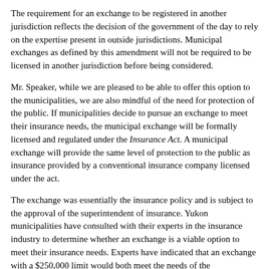The requirement for an exchange to be registered in another jurisdiction reflects the decision of the government of the day to rely on the expertise present in outside jurisdictions. Municipal exchanges as defined by this amendment will not be required to be licensed in another jurisdiction before being considered.
Mr. Speaker, while we are pleased to be able to offer this option to the municipalities, we are also mindful of the need for protection of the public. If municipalities decide to pursue an exchange to meet their insurance needs, the municipal exchange will be formally licensed and regulated under the Insurance Act. A municipal exchange will provide the same level of protection to the public as insurance provided by a conventional insurance company licensed under the act.
The exchange was essentially the insurance policy and is subject to the approval of the superintendent of insurance. Yukon municipalities have consulted with their experts in the insurance industry to determine whether an exchange is a viable option to meet their insurance needs. Experts have indicated that an exchange with a $250,000 limit would both meet the needs of the municipalities and ensure the protection of the Yukon public. Experts have advised that $250,000 is the optimum level because savings are negligible beyond that amount.